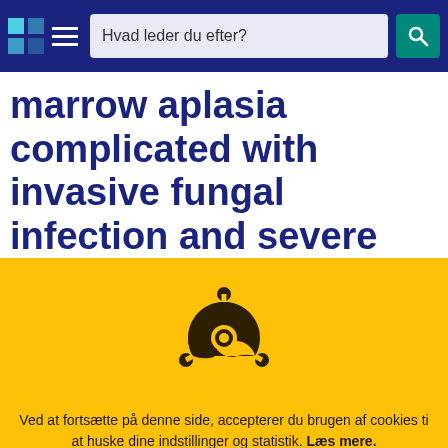Hvad leder du efter?
marrow aplasia complicated with invasive fungal infection and severe neutropenic
[Figure (illustration): Biohazard symbol in dark brown/black on yellow background]
Ved at fortsætte på denne side, accepterer du brugen af cookies ti at huske dine indstillinger og statistik. Læs mere.
OK